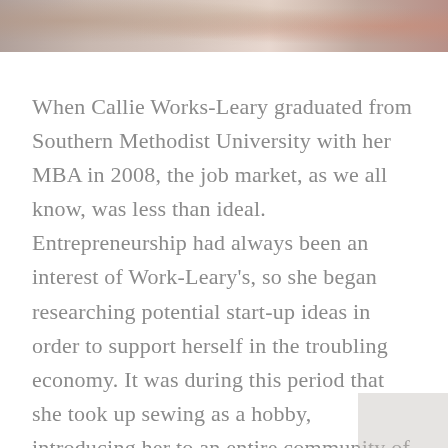[Figure (photo): Partial photo strip at the top of the page showing what appears to be fabric or craft materials in warm tones of red, orange, and beige.]
When Callie Works-Leary graduated from Southern Methodist University with her MBA in 2008, the job market, as we all know, was less than ideal. Entrepreneurship had always been an interest of Work-Leary's, so she began researching potential start-up ideas in order to support herself in the troubling economy. It was during this period that she took up sewing as a hobby, introducing her to an entire community of sewers buying fabrics online. And the sewers were online for a reason, as many of the in-demand fabrics and materials were not available for purchase in Dallas retail locations.